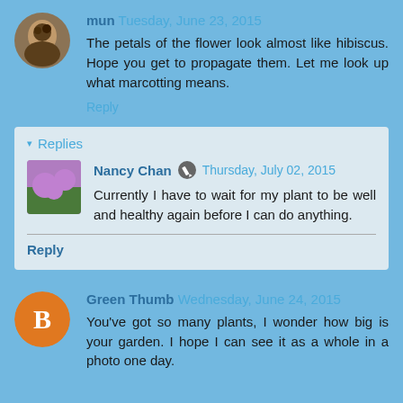mun Tuesday, June 23, 2015
The petals of the flower look almost like hibiscus. Hope you get to propagate them. Let me look up what marcotting means.
Reply
Replies
Nancy Chan Thursday, July 02, 2015
Currently I have to wait for my plant to be well and healthy again before I can do anything.
Reply
Green Thumb Wednesday, June 24, 2015
You've got so many plants, I wonder how big is your garden. I hope I can see it as a whole in a photo one day.